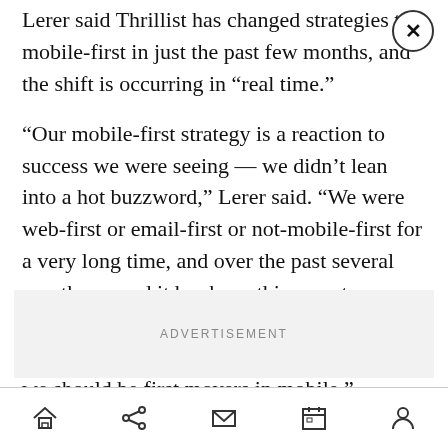Lerer said Thrillist has changed strategies to mobile-first in just the past few months, and the shift is occurring in “real time.”
“Our mobile-first strategy is a reaction to success we were seeing — we didn’t lean into a hot buzzword,” Lerer said. “We were web-first or email-first or not-mobile-first for a very long time, and over the past several months — and it has been this recent — we’ve seen such a shift in audience behaviors that instead of playing catchup, we decided we should be first movers in mobile.”
[Figure (other): Advertisement placeholder box with label ADVERTISEMENT]
Navigation bar with home, share, mail, calendar, and profile icons